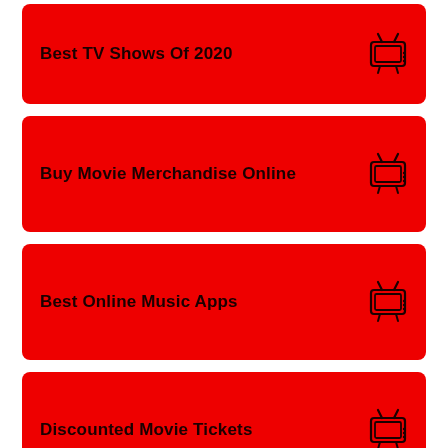Best TV Shows Of 2020
Buy Movie Merchandise Online
Best Online Music Apps
Discounted Movie Tickets
Spotify Promo Codes